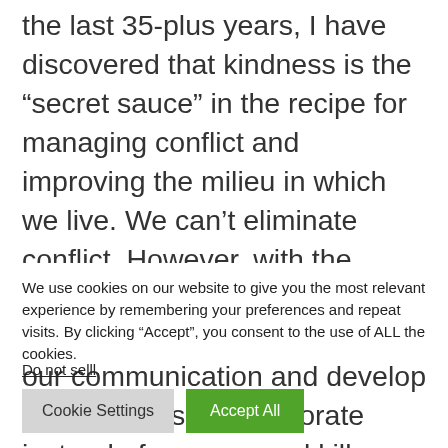the last 35-plus years, I have discovered that kindness is the “secret sauce” in the recipe for managing conflict and improving the milieu in which we live. We can’t eliminate conflict. However, with the improbable means of kindness, we can improve the quality of our communication and develop opportunities to collaborate instead of oppress and kill. …
Read more
We use cookies on our website to give you the most relevant experience by remembering your preferences and repeat visits. By clicking “Accept”, you consent to the use of ALL the cookies.
Do not selll.
Cookie Settings
Accept All